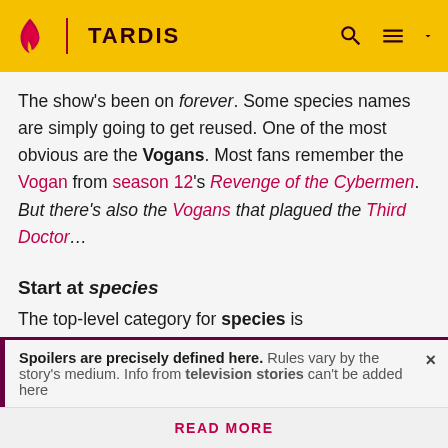TARDIS
The show's been on forever. Some species names are simply going to get reused. One of the most obvious are the Vogans. Most fans remember the Vogan from season 12's Revenge of the Cybermen. But there's also the Vogans that plagued the Third Doctor…
Start at species
The top-level category for species is category:species. We know what you're thinking: "Why did we make it to difficult to figure out?" Well, the admin staff of this wiki delight in making things so hard to figure out as
Spoilers are precisely defined here. Rules vary by the story's medium. Info from television stories can't be added here
READ MORE